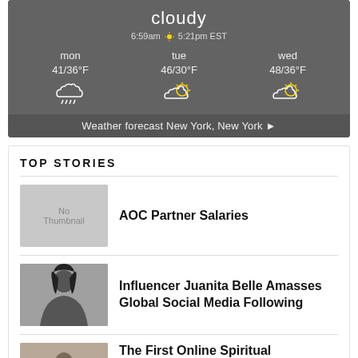[Figure (infographic): Weather widget showing 'cloudy', sunrise 6:59am sunset 5:21pm EST, 3-day forecast: mon 41/36°F (rain icon), tue 46/30°F (partly cloudy icon), wed 48/36°F (partly cloudy icon). Footer: Weather forecast New York, New York ▶]
TOP STORIES
AOC Partner Salaries
Influencer Juanita Belle Amasses Global Social Media Following
The First Online Spiritual Astrologer Master Yogesh Launches Revolutionary Platform For Your Needs